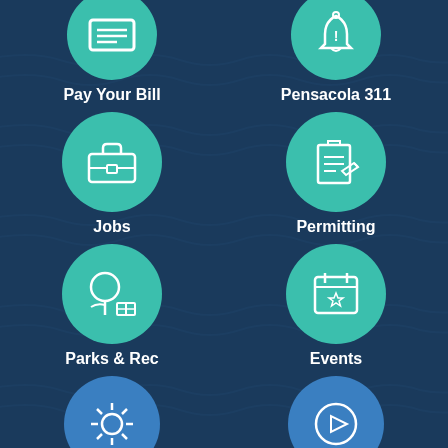[Figure (screenshot): City of Pensacola mobile app menu screen with teal/blue wave background showing icons and labels: Pay Your Bill, Pensacola 311, Jobs, Permitting, Parks & Rec, Events, and two more partially visible icons at the bottom]
Pay Your Bill
Pensacola 311
Jobs
Permitting
Parks & Rec
Events